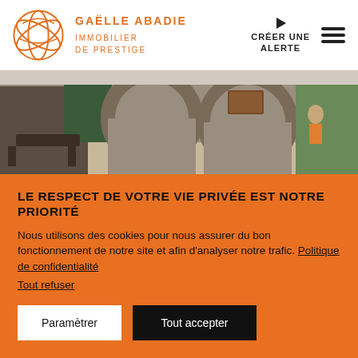[Figure (logo): Gaëlle Abadie Immobilier de Prestige logo — orange geometric globe-like icon with brand name in orange letters]
CRÉER UNE ALERTE
[Figure (photo): Interior photo of a prestige property showing stone arches, open living space, staircase, and green outdoor view]
LE RESPECT DE VOTRE VIE PRIVÉE EST NOTRE PRIORITÉ
Nous utilisons des cookies pour nous assurer du bon fonctionnement de notre site et afin d'analyser notre trafic. Politique de confidentialité
Tout refuser
Paramètrer
Tout accepter